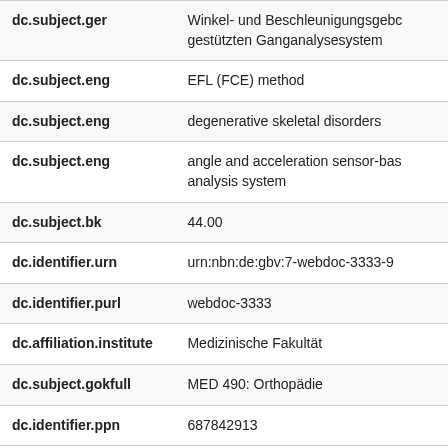| dc.subject.ger | Winkel- und Beschleunigungsgebundenen gestützten Ganganalysesystem |
| dc.subject.eng | EFL (FCE) method |
| dc.subject.eng | degenerative skeletal disorders |
| dc.subject.eng | angle and acceleration sensor-based analysis system |
| dc.subject.bk | 44.00 |
| dc.identifier.urn | urn:nbn:de:gbv:7-webdoc-3333-9 |
| dc.identifier.purl | webdoc-3333 |
| dc.affiliation.institute | Medizinische Fakultät |
| dc.subject.gokfull | MED 490: Orthopädie |
| dc.identifier.ppn | 687842913 |